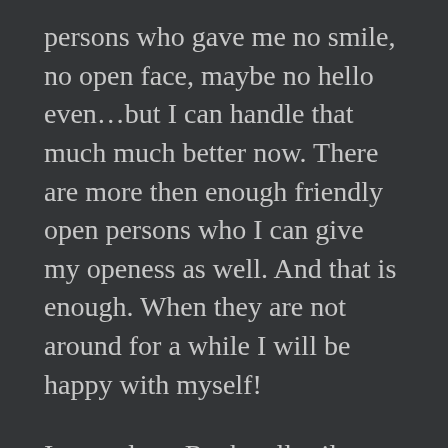persons who gave me no smile, no open face, maybe no hello even…but I can handle that much much better now. There are more then enough friendly open persons who I can give my openess as well. And that is enough. When they are not around for a while I will be happy with myself!
I started my Rockwalltrail 8.30am at Saturdaymorning from FloeLake trailhead. It was a strange environment…this first 4 hours…all burned trees… 10 years ago already took this fire place but still very